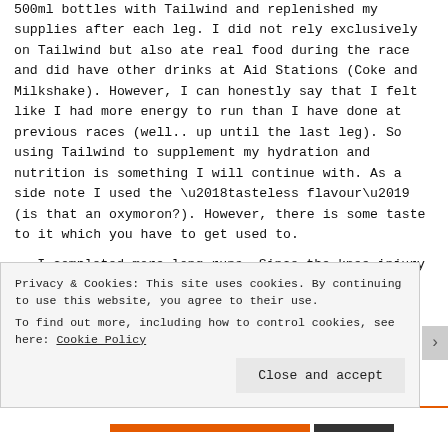500ml bottles with Tailwind and replenished my supplies after each leg. I did not rely exclusively on Tailwind but also ate real food during the race and did have other drinks at Aid Stations (Coke and Milkshake). However, I can honestly say that I felt like I had more energy to run than I have done at previous races (well.. up until the last leg). So using Tailwind to supplement my hydration and nutrition is something I will continue with. As a side note I used the ‘tasteless flavour’ (is that an oxymoron?). However, there is some taste to it which you have to get used to.
I completed more long runs. Since the knee injury at the Monarchs Way I had been struggling to complete long runs
Privacy & Cookies: This site uses cookies. By continuing to use this website, you agree to their use.
To find out more, including how to control cookies, see here: Cookie Policy